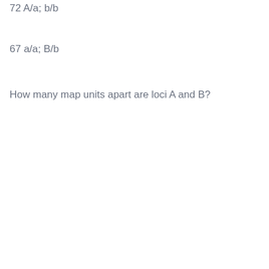72 A/a; b/b
67 a/a; B/b
How many map units apart are loci A and B?